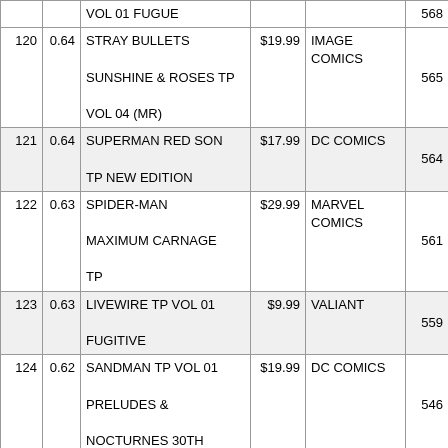|  |  | Title | Price | Publisher | Units |
| --- | --- | --- | --- | --- | --- |
|  |  | VOL 01 FUGUE |  |  | 568 |
| 120 | 0.64 | STRAY BULLETS SUNSHINE & ROSES TP VOL 04 (MR) | $19.99 | IMAGE COMICS | 565 |
| 121 | 0.64 | SUPERMAN RED SON TP NEW EDITION | $17.99 | DC COMICS | 564 |
| 122 | 0.63 | SPIDER-MAN MAXIMUM CARNAGE TP | $29.99 | MARVEL COMICS | 561 |
| 123 | 0.63 | LIVEWIRE TP VOL 01 FUGITIVE | $9.99 | VALIANT | 559 |
| 124 | 0.62 | SANDMAN TP VOL 01 PRELUDES & NOCTURNES 30TH ANNIV ED | $19.99 | DC COMICS | 546 |
| 125 | 0.61 | SPIDER-GEDDON TP | $24.99 | MARVEL COMICS | 545 |